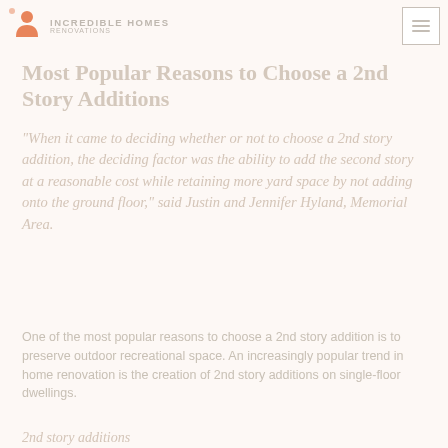Incredible Homes
Most Popular Reasons to Choose a 2nd Story Additions
"When it came to deciding whether or not to choose a 2nd story addition, the deciding factor was the ability to add the second story at a reasonable cost while retaining more yard space by not adding onto the ground floor," said Justin and Jennifer Hyland, Memorial Area.
One of the most popular reasons to choose a 2nd story addition is to preserve outdoor recreational space.  An increasingly popular trend in home renovation is the creation of 2nd story additions on single-floor dwellings.
2nd story additions